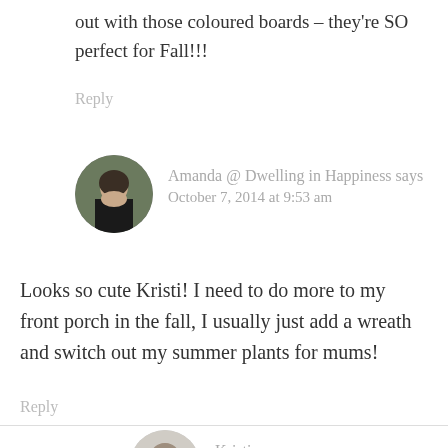out with those coloured boards – they're SO perfect for Fall!!!
Reply
Amanda @ Dwelling in Happiness says
October 7, 2014 at 9:53 am
[Figure (photo): Circular avatar photo of Amanda, a woman with dark hair wearing a black top]
Looks so cute Kristi! I need to do more to my front porch in the fall, I usually just add a wreath and switch out my summer plants for mums!
Reply
[Figure (photo): Circular avatar photo of Kristi, partially visible]
Kristi says